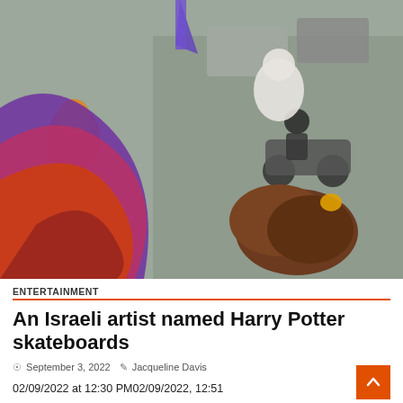[Figure (photo): Photo of a person in an animal costume standing on a street, with cartoon character cutouts (Lion King characters) overlaid, a large brown rock prop, and a scooter/motorcycle in the background on a city street.]
ENTERTAINMENT
An Israeli artist named Harry Potter skateboards
September 3, 2022   Jacqueline Davis
02/09/2022 at 12:30 PM02/09/2022, 12:51